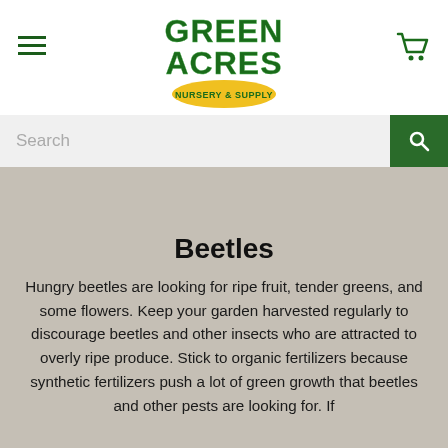[Figure (logo): Green Acres Nursery & Supply logo in green with yellow oval badge]
Beetles
Hungry beetles are looking for ripe fruit, tender greens, and some flowers. Keep your garden harvested regularly to discourage beetles and other insects who are attracted to overly ripe produce. Stick to organic fertilizers because synthetic fertilizers push a lot of green growth that beetles and other pests are looking for. If